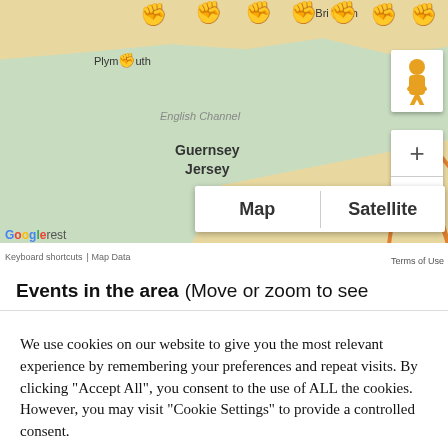[Figure (map): Google map showing southern England and northern France/Channel Islands region, with protest fist markers along the south coast of England. Shows Plymouth, Brighton, Guernsey, Jersey labels. Map/Satellite toggle and zoom controls visible.]
Events in the area (Move or zoom to see
We use cookies on our website to give you the most relevant experience by remembering your preferences and repeat visits. By clicking "Accept All", you consent to the use of ALL the cookies. However, you may visit "Cookie Settings" to provide a controlled consent.
Cookie Settings
Accept All